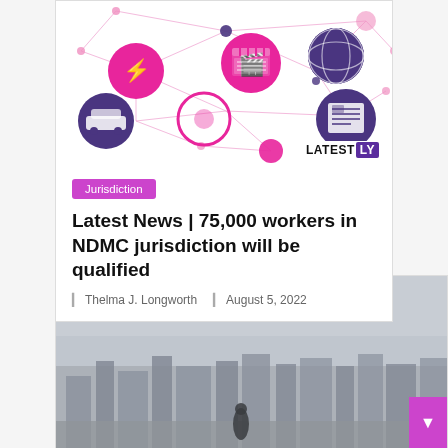[Figure (illustration): Latestly network illustration with colored circle icons (lightning bolt, film clapper, globe, car, soccer ball, newspaper) connected by network lines on white background. LATESTLY logo in bottom right.]
Jurisdiction
Latest News | 75,000 workers in NDMC jurisdiction will be qualified
Thelma J. Longworth   August 5, 2022
[Figure (photo): Smoggy cityscape photo showing buildings under heavy haze/fog conditions with a figure silhouetted in the foreground.]